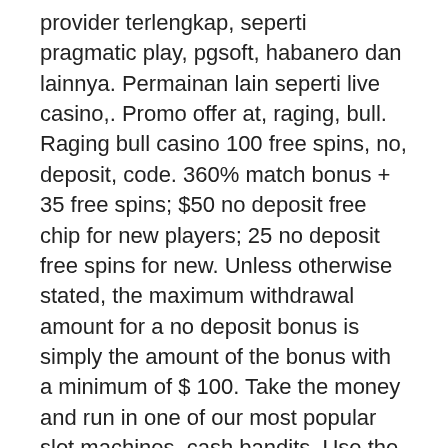provider terlengkap, seperti pragmatic play, pgsoft, habanero dan lainnya. Permainan lain seperti live casino,. Promo offer at, raging, bull. Raging bull casino 100 free spins, no, deposit, code. 360% match bonus + 35 free spins; $50 no deposit free chip for new players; 25 no deposit free spins for new. Unless otherwise stated, the maximum withdrawal amount for a no deposit bonus is simply the amount of the bonus with a minimum of $ 100. Take the money and run in one of our most popular slot machines, cash bandits. Use the great bonus code below to get 25 free spins and see why our players. Raging bull is rated 1149 of 1468 casinos reviewed with a score of 2. 3 out of 5 after 576 votes and it has 230 slots offered from real time gaming with an. Pokie pop casino – this is one of those australian online casinos that offers up to $2,000 real money in match-up bonuses plus free spins. Claim